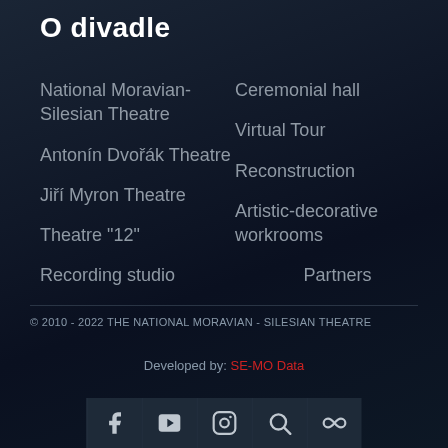O divadle
National Moravian-Silesian Theatre
Antonín Dvořák Theatre
Jiří Myron Theatre
Theatre "12"
Recording studio
Ceremonial hall
Virtual Tour
Reconstruction
Artistic-decorative workrooms
Partners
© 2010 - 2022 THE NATIONAL MORAVIAN - SILESIAN THEATRE
Developed by: SE-MO Data
[Figure (other): Social media icons: Facebook, YouTube, Instagram, Search, and Flickr/infinity]